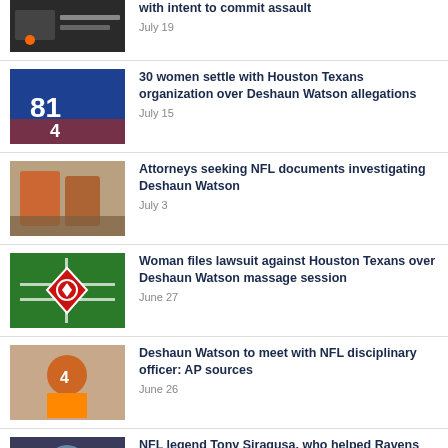with intent to commit assault — July 19
30 women settle with Houston Texans organization over Deshaun Watson allegations — July 15
Attorneys seeking NFL documents investigating Deshaun Watson — July 3
Woman files lawsuit against Houston Texans over Deshaun Watson massage session — June 27
Deshaun Watson to meet with NFL disciplinary officer: AP sources — June 26
NFL legend Tony Siragusa, who helped Ravens win Super Bowl, dies at the age of 55